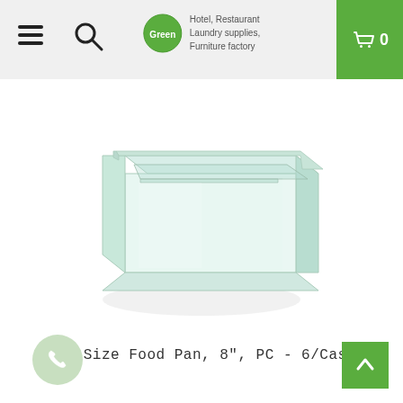Hotel, Restaurant Laundry supplies, Furniture factory
[Figure (photo): Clear polycarbonate 1/3 size food pan, 8 inch deep, shown at an angle on white background]
1/3 Size Food Pan, 8", PC - 6/Case